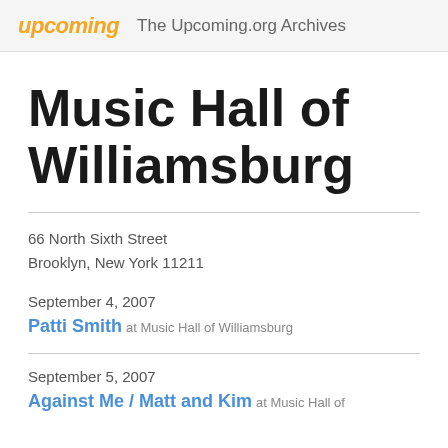upcoming  The Upcoming.org Archives
Music Hall of Williamsburg
66 North Sixth Street
Brooklyn, New York 11211
September 4, 2007
Patti Smith at Music Hall of Williamsburg
September 5, 2007
Against Me / Matt and Kim at Music Hall of